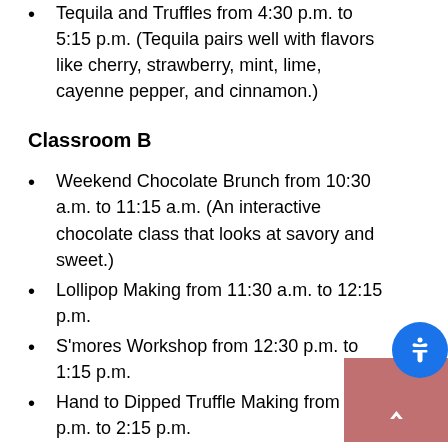Tequila and Truffles from 4:30 p.m. to 5:15 p.m. (Tequila pairs well with flavors like cherry, strawberry, mint, lime, cayenne pepper, and cinnamon.)
Classroom B
Weekend Chocolate Brunch from 10:30 a.m. to 11:15 a.m. (An interactive chocolate class that looks at savory and sweet.)
Lollipop Making from 11:30 a.m. to 12:15 p.m.
S'mores Workshop from 12:30 p.m. to 1:15 p.m.
Hand to Dipped Truffle Making from 1:30 p.m. to 2:15 p.m.
Wine & Chocolate from 3:30 p.m. to 4:15 p.m.
Cocktails & Chocolate from 4:30 p.m. to 5:15 p.m.
(A master mixologist pairs spirits with bitter and